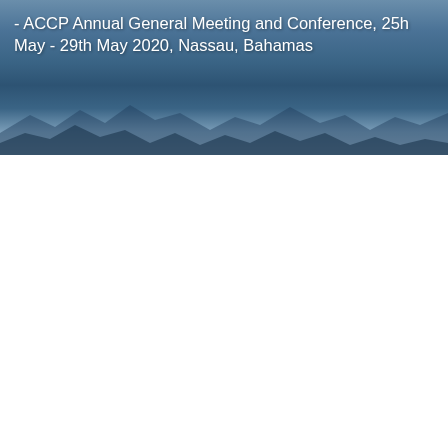[Figure (photo): A wide aerial/landscape photograph of a mountain range with blue-grey sky and clouds, serving as a decorative header banner for the document page.]
- ACCP Annual General Meeting and Conference, 25h May - 29th May 2020, Nassau, Bahamas